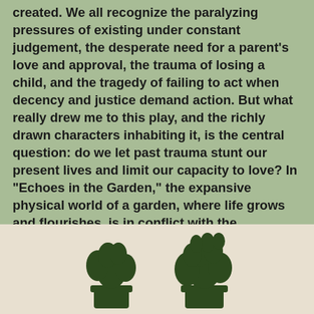created. We all recognize the paralyzing pressures of existing under constant judgement, the desperate need for a parent's love and approval, the trauma of losing a child, and the tragedy of failing to act when decency and justice demand action. But what really drew me to this play, and the richly drawn characters inhabiting it, is the central question: do we let past trauma stunt our present lives and limit our capacity to love? In "Echoes in the Garden," the expansive physical world of a garden, where life grows and flourishes, is in conflict with the characters' caged emotional lives. They are trapped in a small world of their own making, through prejudice and fear. There's an exciting tension there, waiting to be explored in rehearsal and in design.
[Figure (illustration): Dark green silhouette illustration of two potted plants with leafy foliage]